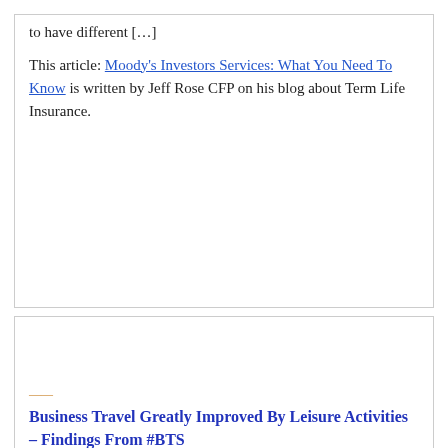to have different […]
This article: Moody's Investors Services: What You Need To Know is written by Jeff Rose CFP on his blog about Term Life Insurance.
Business Travel Greatly Improved By Leisure Activities – Findings From #BTS